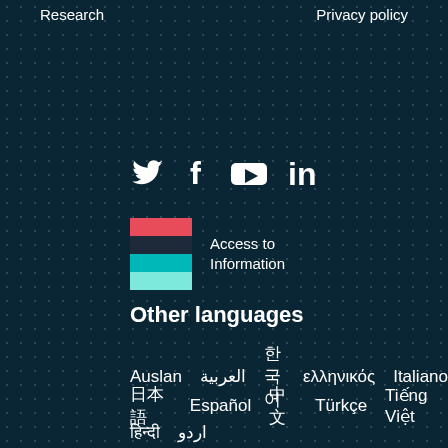Research    Privacy policy
[Figure (infographic): Social media icons: Twitter bird, Facebook f, YouTube play button, LinkedIn in]
[Figure (logo): Access to Information logo with coloured bars (red, dark navy, teal, light teal) and text 'Access to Information']
Other languages
Auslan  العربية  한국어  ελληνικός  Italiano
日本語  Español  中文  Türkçe  Tiếng Việt
हिन्दी  اردو